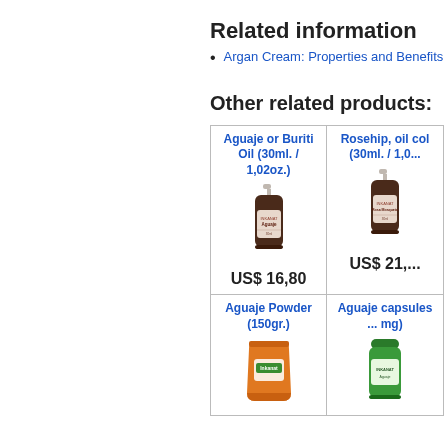Related information
Argan Cream: Properties and Benefits
Other related products:
[Figure (photo): Product grid showing Aguaje or Buriti Oil (30ml./1,02oz.) spray bottle with price US$ 16,80, Rosehip oil colb (30ml./1,0...) spray bottle with price US$ 21,..., Aguaje Powder (150gr.) orange powder bag, Aguaje capsules ...mg) green supplement bottle]
US$ 16,80
US$ 21,...